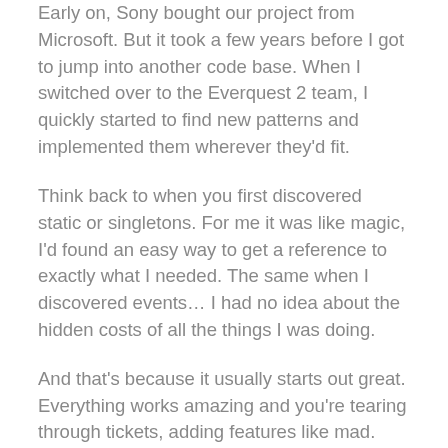Early on, Sony bought our project from Microsoft. But it took a few years before I got to jump into another code base. When I switched over to the Everquest 2 team, I quickly started to find new patterns and implemented them wherever they'd fit.
Think back to when you first discovered static or singletons. For me it was like magic, I'd found an easy way to get a reference to exactly what I needed. The same when I discovered events… I had no idea about the hidden costs of all the things I was doing.
And that's because it usually starts out great. Everything works amazing and you're tearing through tickets, adding features like mad. Think of day 1 on a project, just how fast you're going and how much of a difference you see. It usually stays pretty fast paced too..  for a while.
Then it hits. Suddenly you look at a ticket and realize it's going to take a lot longer than you'd expected. The new 'little' feature you